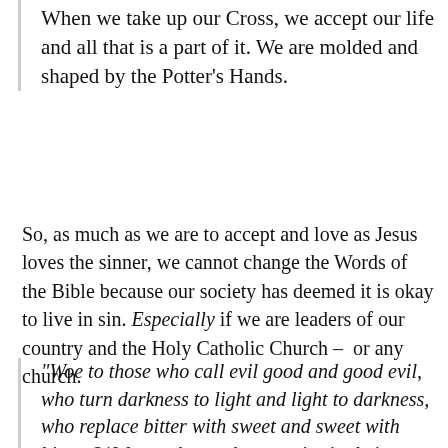When we take up our Cross, we accept our life and all that is a part of it. We are molded and shaped by the Potter's Hands.
So, as much as we are to accept and love as Jesus loves the sinner, we cannot change the Words of the Bible because our society has deemed it is okay to live in sin. Especially if we are leaders of our country and the Holy Catholic Church – or any church.
"Woe to those who call evil good and good evil, who turn darkness to light and light to darkness, who replace bitter with sweet and sweet with bitter. 21Woe to those who are wise in their own